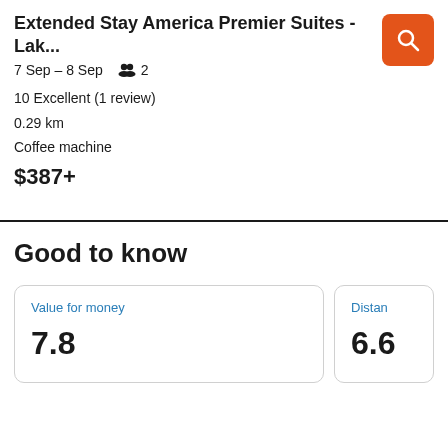Extended Stay America Premier Suites - Lak...
7 Sep – 8 Sep   2
10 Excellent (1 review)
0.29 km
Coffee machine
$387+
Good to know
| Value for money | Distan |
| --- | --- |
| 7.8 | 6.6 |